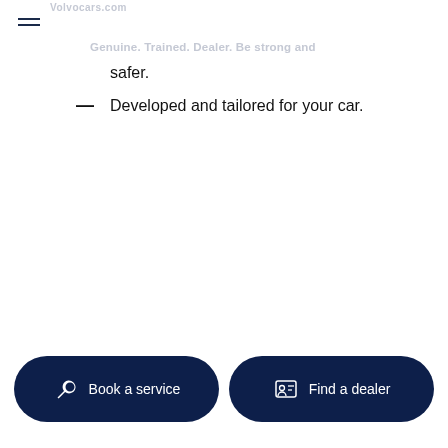Volvocars.com
... Genuine, Trained, Dealer. Be strong and safer.
Developed and tailored for your car.
[Figure (other): Book a service button with wrench icon]
[Figure (other): Find a dealer button with person/ID card icon]